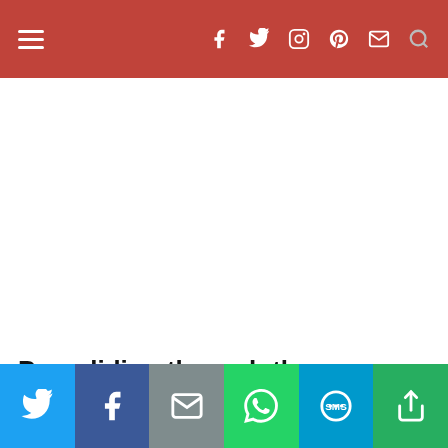Navigation bar with menu icon and social icons: Facebook, Twitter, Instagram, Pinterest, Email, Search
Paragliding through the Himalayan mountains
I've somehow overcome my fear of heights in
Share bar: Twitter, Facebook, Email, WhatsApp, SMS, More